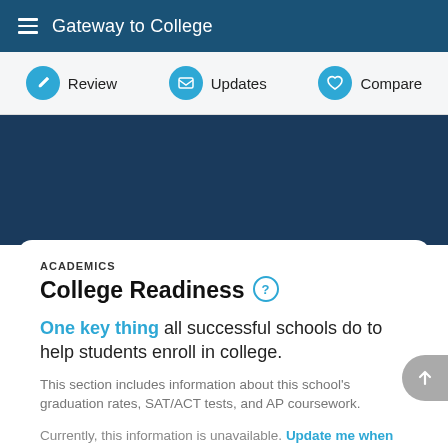Gateway to College
Review | Updates | Compare
ACADEMICS
College Readiness
One key thing all successful schools do to help students enroll in college.
This section includes information about this school's graduation rates, SAT/ACT tests, and AP coursework.
Currently, this information is unavailable. Update me when new information is published on this